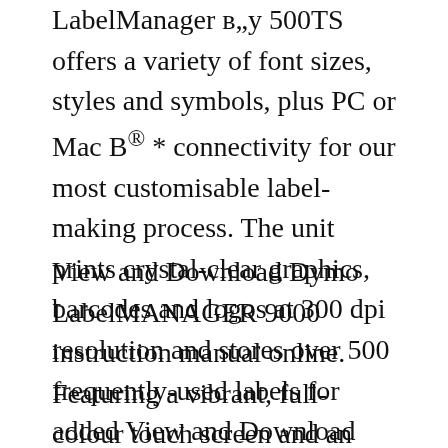LabelManager в„у 500TS offers a variety of font sizes, styles and symbols, plus PC or Mac B® * connectivity for our most customisable label-making process. The unit prints crystal-clear graphics, barcodes and logos at 300 dpi resolution and stores over 500 frequently-used labels for added View and Download Dymo LabelMANAGER 9000 instruction manual online.
View and Download Dymo LabelMANAGER 9000 instruction manual online. Featuring a vibrant, full-colour touch screen and an easy-to-use computer-style keyboard, the LabelManager в„ȳ 500TS offers a variety of font sizes, styles and symbols, plus PC or Mac B® * connectivity for our most customisable label-making process. The unit prints crystal-clear graphics, barcodes and